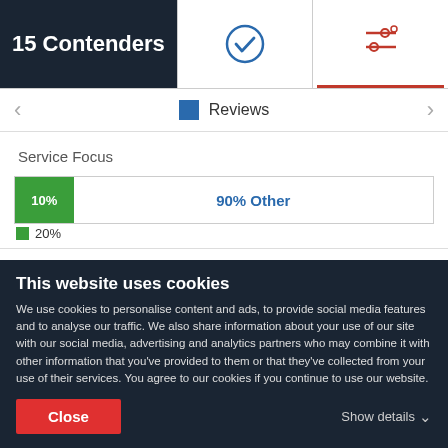15 Contenders
[Figure (other): Checkmark circle icon (navigation tab)]
[Figure (other): Filter/settings icon with red underline (active navigation tab)]
Reviews
Service Focus
[Figure (stacked-bar-chart): Service Focus]
20%
Web Development
This website uses cookies
We use cookies to personalise content and ads, to provide social media features and to analyse our traffic. We also share information about your use of our site with our social media, advertising and analytics partners who may combine it with other information that you've provided to them or that they've collected from your use of their services. You agree to our cookies if you continue to use our website.
Close
Show details